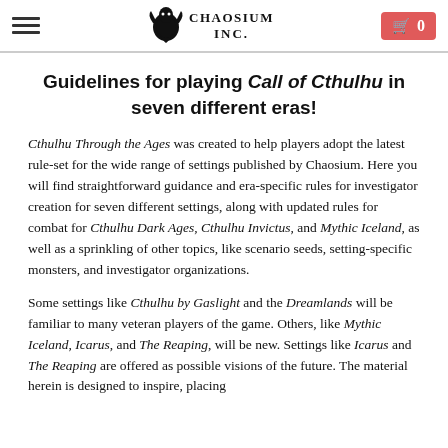Chaosium Inc. — navigation header with hamburger menu, logo, and cart button showing 0 items
Guidelines for playing Call of Cthulhu in seven different eras!
Cthulhu Through the Ages was created to help players adopt the latest rule-set for the wide range of settings published by Chaosium. Here you will find straightforward guidance and era-specific rules for investigator creation for seven different settings, along with updated rules for combat for Cthulhu Dark Ages, Cthulhu Invictus, and Mythic Iceland, as well as a sprinkling of other topics, like scenario seeds, setting-specific monsters, and investigator organizations.
Some settings like Cthulhu by Gaslight and the Dreamlands will be familiar to many veteran players of the game. Others, like Mythic Iceland, Icarus, and The Reaping, will be new. Settings like Icarus and The Reaping are offered as possible visions of the future. The material herein is designed to inspire, placing...